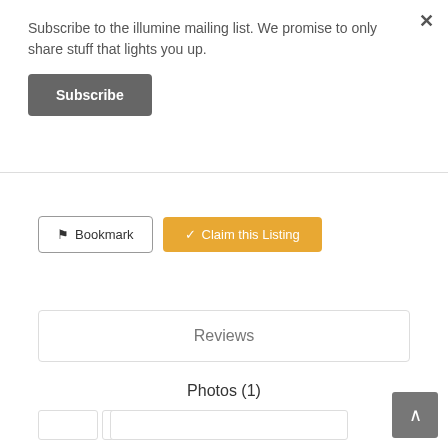Subscribe to the illumine mailing list. We promise to only share stuff that lights you up.
Subscribe
Bookmark
Claim this Listing
Reviews
Photos (1)
Related Listings